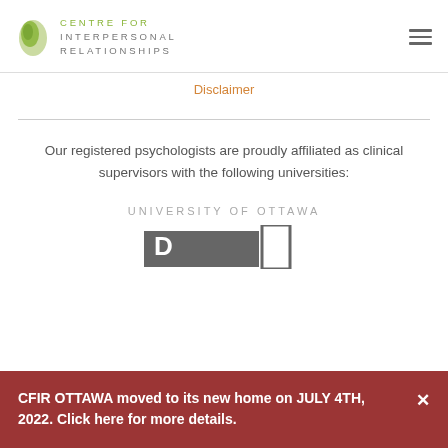[Figure (logo): Centre for Interpersonal Relationships logo with green leaf/oval icon and text]
Disclaimer
Our registered psychologists are proudly affiliated as clinical supervisors with the following universities:
UNIVERSITY OF OTTAWA
[Figure (logo): University of Ottawa logo, partially visible at bottom]
CFIR OTTAWA moved to its new home on JULY 4TH, 2022. Click here for more details.